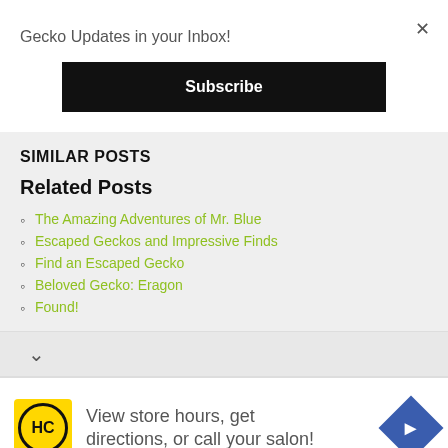Gecko Updates in your Inbox!
Subscribe
SIMILAR POSTS
Related Posts
The Amazing Adventures of Mr. Blue
Escaped Geckos and Impressive Finds
Find an Escaped Gecko
Beloved Gecko: Eragon
Found!
[Figure (screenshot): Advertisement banner: HC logo on yellow background, text 'View store hours, get directions, or call your salon!', blue diamond arrow icon]
View store hours, get directions, or call your salon!